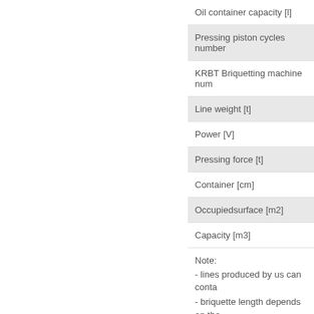| Parameter |
| --- |
| Oil container capacity [l] |
| Pressing piston cycles number |
| KRBT Briquetting machine num |
| Line weight [t] |
| Power [V] |
| Pressing force [t] |
| Container [cm] |
| Occupiedsurface [m2] |
| Capacity [m3] |
Note:
- lines produced by us can conta
- briquette length depends on the
- in box 2R and 4R quite substan
- data are not binding and may c